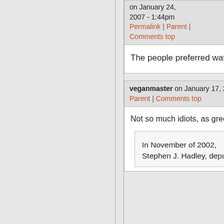on January 24, 2007 - 1:44pm Permalink | Parent | Comments top
The people preferred watching TV.
veganmaster on January 17, 2007 - 12:36pm Permalink | Parent | Comments top
Not so much idiots, as greedy, corrupt mofos:
In November of 2002, Stephen J. Hadley, deputy